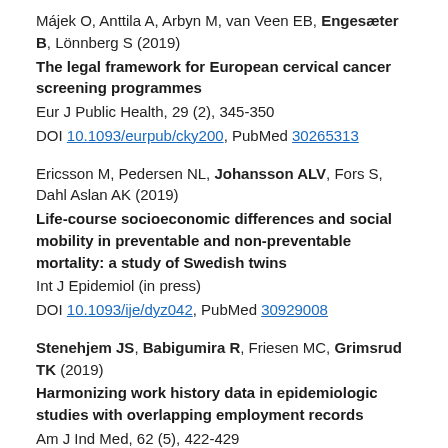Májek O, Anttila A, Arbyn M, van Veen EB, Engesæter B, Lönnberg S (2019) The legal framework for European cervical cancer screening programmes Eur J Public Health, 29 (2), 345-350 DOI 10.1093/eurpub/cky200, PubMed 30265313
Ericsson M, Pedersen NL, Johansson ALV, Fors S, Dahl Aslan AK (2019) Life-course socioeconomic differences and social mobility in preventable and non-preventable mortality: a study of Swedish twins Int J Epidemiol (in press) DOI 10.1093/ije/dyz042, PubMed 30929008
Stenehjem JS, Babigumira R, Friesen MC, Grimsrud TK (2019) Harmonizing work history data in epidemiologic studies with overlapping employment records Am J Ind Med, 62 (5), 422-429 DOI 10.1002/ajim.22965, PubMed 30919995
Aksnessæther BY, Lund JÅ, Myklebust TÅ, Klepp OH, Skovlund